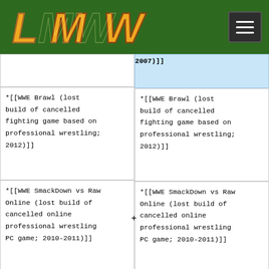LMW logo and hamburger menu
| Left (old) | Right (new) |
| --- | --- |
| ...(partial) 2007)]] | *[[...(partial) 2007)]] |
| *[[WWE Brawl (lost build of cancelled fighting game based on professional wrestling; 2012)]] | *[[WWE Brawl (lost build of cancelled fighting game based on professional wrestling; 2012)]] |
| *[[WWE SmackDown vs Raw Online (lost build of cancelled online professional wrestling PC game; 2010-2011)]] | *[[WWE SmackDown vs Raw Online (lost build of cancelled online professional wrestling PC game; 2010-2011)]] |
|  | *[[WWF Attitude (lost professional wrestling recap show; 2001-2002)]] |
| *[[WWF Backlash (non-existent unfinished | *[[WWF Backlash (non-existent unfinished |